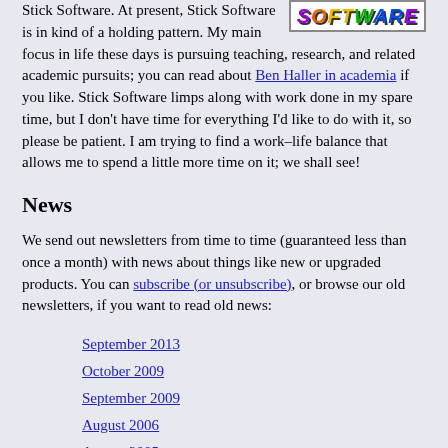[Figure (logo): Stick Software logo with colorful stylized text reading 'SOFTWARE' in a bordered box]
Stick Software. At present, Stick Software is in kind of a holding pattern. My main focus in life these days is pursuing teaching, research, and related academic pursuits; you can read about Ben Haller in academia if you like. Stick Software limps along with work done in my spare time, but I don't have time for everything I'd like to do with it, so please be patient. I am trying to find a work–life balance that allows me to spend a little more time on it; we shall see!
News
We send out newsletters from time to time (guaranteed less than once a month) with news about things like new or upgraded products. You can subscribe (or unsubscribe), or browse our old newsletters, if you want to read old news:
September 2013
October 2009
September 2009
August 2006
August 2005